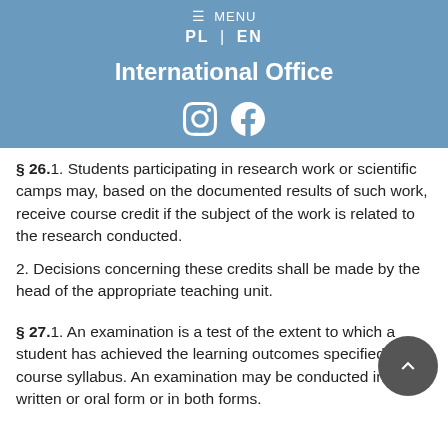≡ MENU
PL | EN
International Office
[Figure (logo): Instagram and Facebook social media icons in white on blue background]
§ 26.1. Students participating in research work or scientific camps may, based on the documented results of such work, receive course credit if the subject of the work is related to the research conducted.
2. Decisions concerning these credits shall be made by the head of the appropriate teaching unit.
§ 27.1. An examination is a test of the extent to which a student has achieved the learning outcomes specified in the course syllabus. An examination may be conducted in a written or oral form or in both forms.